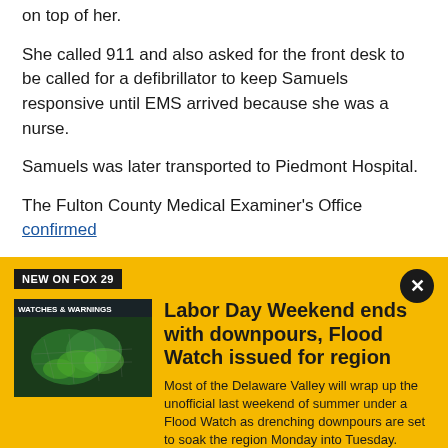on top of her.
She called 911 and also asked for the front desk to be called for a defibrillator to keep Samuels responsive until EMS arrived because she was a nurse.
Samuels was later transported to Piedmont Hospital.
The Fulton County Medical Examiner's Office confirmed
NEW ON FOX 29
[Figure (screenshot): Weather map thumbnail showing watches and warnings over the Delaware Valley region]
Labor Day Weekend ends with downpours, Flood Watch issued for region
Most of the Delaware Valley will wrap up the unofficial last weekend of summer under a Flood Watch as drenching downpours are set to soak the region Monday into Tuesday.